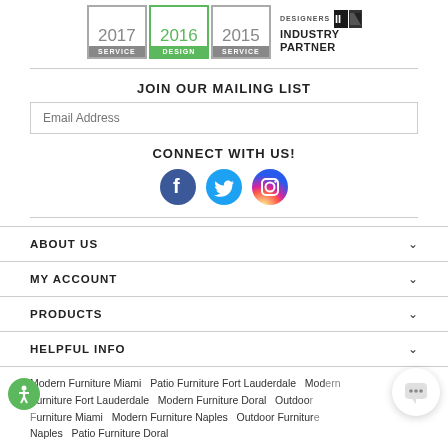[Figure (logo): Award badges for 2017 Service, 2016 Design, 2015 Service, and ASID Designers Industry Partner logo]
JOIN OUR MAILING LIST
Email Address
CONNECT WITH US!
[Figure (illustration): Social media icons: Facebook (blue circle), Twitter (light blue circle), Instagram (gradient circle)]
ABOUT US
MY ACCOUNT
PRODUCTS
HELPFUL INFO
Modern Furniture Miami  Patio Furniture Fort Lauderdale  Modern Furniture Fort Lauderdale  Modern Furniture Doral  Outdoor Furniture Miami  Modern Furniture Naples  Outdoor Furniture Naples  Patio Furniture Doral